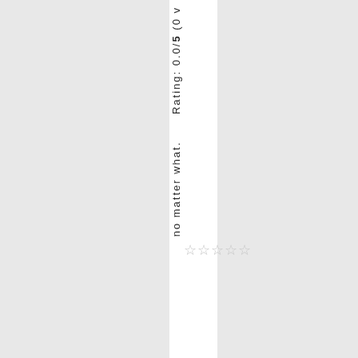no matter what.
[Figure (other): Five empty star rating icons]
Rating: 0.0/5 (0 ov